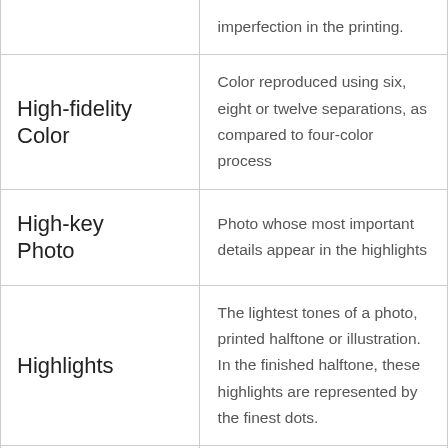| Term | Definition |
| --- | --- |
|  | imperfection in the printing. |
| High-fidelity Color | Color reproduced using six, eight or twelve separations, as compared to four-color process |
| High-key Photo | Photo whose most important details appear in the highlights |
| Highlights | The lightest tones of a photo, printed halftone or illustration. In the finished halftone, these highlights are represented by the finest dots. |
| Hinged Cover | Perfect bound cover scored 1/8 inch (3mm) from the spine so it |